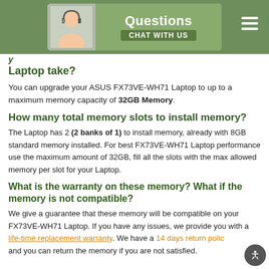Questions — Chat with us
Laptop take?
You can upgrade your ASUS FX73VE-WH71 Laptop to up to a maximum memory capacity of 32GB Memory.
How many total memory slots to install memory?
The Laptop has 2 (2 banks of 1) to install memory, already with 8GB standard memory installed. For best FX73VE-WH71 Laptop performance use the maximum amount of 32GB, fill all the slots with the max allowed memory per slot for your Laptop.
What is the warranty on these memory? What if the memory is not compatible?
We give a guarantee that these memory will be compatible on your FX73VE-WH71 Laptop. If you have any issues, we provide you with a life-time replacement warranty. We have a 14 days return policy and you can return the memory if you are not satisfied.